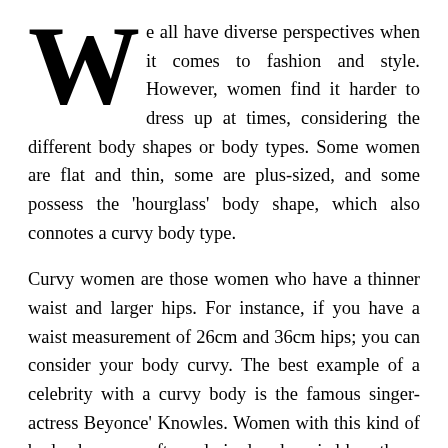We all have diverse perspectives when it comes to fashion and style. However, women find it harder to dress up at times, considering the different body shapes or body types. Some women are flat and thin, some are plus-sized, and some possess the 'hourglass' body shape, which also connotes a curvy body type.
Curvy women are those women who have a thinner waist and larger hips. For instance, if you have a waist measurement of 26cm and 36cm hips; you can consider your body curvy. The best example of a celebrity with a curvy body is the famous singer-actress Beyonce' Knowles. Women with this kind of body shape are often admired and envied by others. But the truth is, they also face great difficulty in wearing the clothes that will best